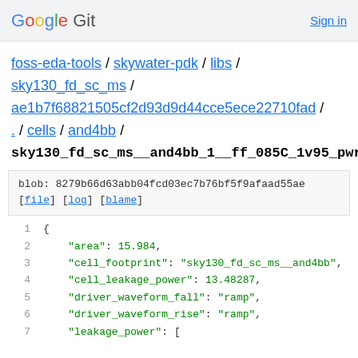Google Git   Sign in
foss-eda-tools / skywater-pdk / libs / sky130_fd_sc_ms / ae1b7f68821505cf2d93d9d44cce5ece22710fad / . / cells / and4bb /
sky130_fd_sc_ms__and4bb_1__ff_085C_1v95_pwrlkg
blob: 8279b66d63abb04fcd03ec7b76bf5f9afaad55ae
[file] [log] [blame]
1  {
2      "area": 15.984,
3      "cell_footprint": "sky130_fd_sc_ms__and4bb",
4      "cell_leakage_power": 13.48287,
5      "driver_waveform_fall": "ramp",
6      "driver_waveform_rise": "ramp",
7      "leakage_power": [